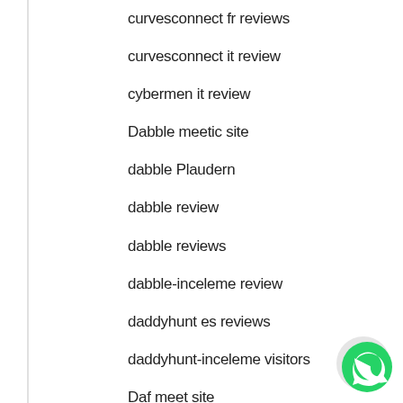curvesconnect fr reviews
curvesconnect it review
cybermen it review
Dabble meetic site
dabble Plaudern
dabble review
dabble reviews
dabble-inceleme review
daddyhunt es reviews
daddyhunt-inceleme visitors
Daf meet site
[Figure (logo): WhatsApp contact button (green circle with phone icon) in bottom-right corner]